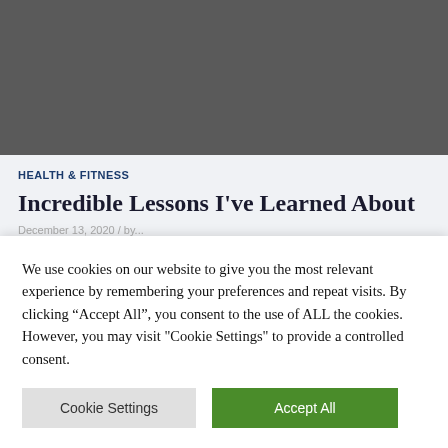[Figure (photo): Dark gray image placeholder at top of article page]
HEALTH & FITNESS
Incredible Lessons I've Learned About
December 13, 2020 / by...
We use cookies on our website to give you the most relevant experience by remembering your preferences and repeat visits. By clicking “Accept All”, you consent to the use of ALL the cookies. However, you may visit "Cookie Settings" to provide a controlled consent.